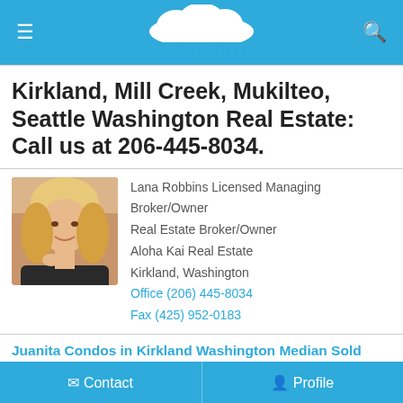active rain
Kirkland, Mill Creek, Mukilteo, Seattle Washington Real Estate: Call us at 206-445-8034.
[Figure (photo): Headshot photo of Lana Robbins, a woman with blonde hair smiling at the camera]
Lana Robbins Licensed Managing Broker/Owner
Real Estate Broker/Owner
Aloha Kai Real Estate
Kirkland, Washington
Office (206) 445-8034
Fax (425) 952-0183
Juanita Condos in Kirkland Washington Median Sold Price Up 60%
Juanita Condos in Kirkland Washington Median Sold Price Past Year U...
December 07, 2013 06:25 AM
Juanita Condos in Kirkland Washington Months of Inventory Nov 2013
Contact   Profile